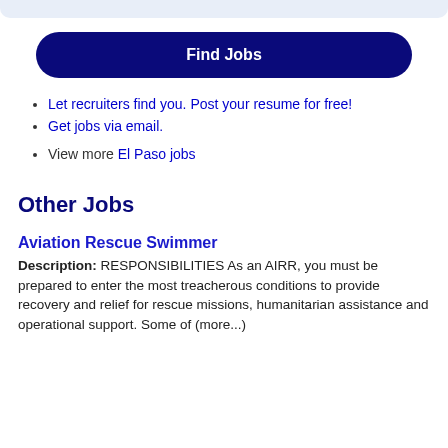Let recruiters find you. Post your resume for free!
Get jobs via email.
View more El Paso jobs
Other Jobs
Aviation Rescue Swimmer
Description: RESPONSIBILITIES As an AIRR, you must be prepared to enter the most treacherous conditions to provide recovery and relief for rescue missions, humanitarian assistance and operational support. Some of (more...)